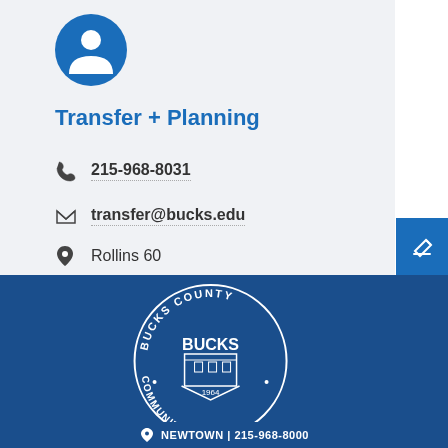[Figure (illustration): Blue circle avatar icon with person silhouette]
Transfer + Planning
215-968-8031
transfer@bucks.edu
Rollins 60
[Figure (logo): Bucks County Community College circular seal with building illustration, text reading BUCKS COUNTY COMMUNITY COLLEGE 1964]
NEWTOWN | 215-968-8000